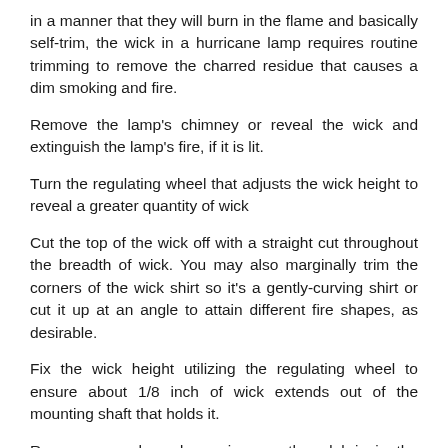in a manner that they will burn in the flame and basically self-trim, the wick in a hurricane lamp requires routine trimming to remove the charred residue that causes a dim smoking and fire.
Remove the lamp's chimney or reveal the wick and extinguish the lamp's fire, if it is lit.
Turn the regulating wheel that adjusts the wick height to reveal a greater quantity of wick
Cut the top of the wick off with a straight cut throughout the breadth of wick. You may also marginally trim the corners of the wick shirt so it's a gently-curving shirt or cut it up at an angle to attain different fire shapes, as desirable.
Fix the wick height utilizing the regulating wheel to ensure about 1/8 inch of wick extends out of the mounting shaft that holds it.
Remove any charred remains or other debris in the burner screen to ensure airflow remains unrestricted.
Replace the hurricane lamp's chimney. You can wipe any soot off of the interior of the chimney prior to replacing it, if needed,